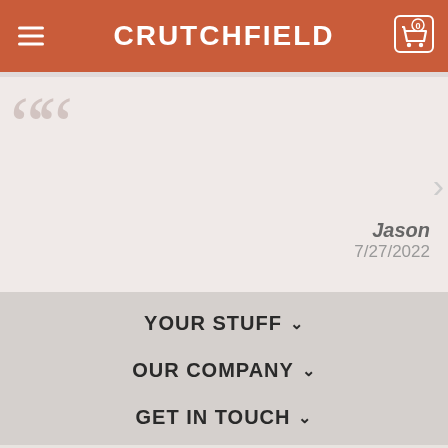CRUTCHFIELD
Jason
7/27/2022
YOUR STUFF
OUR COMPANY
GET IN TOUCH
STAY IN THE KNOW